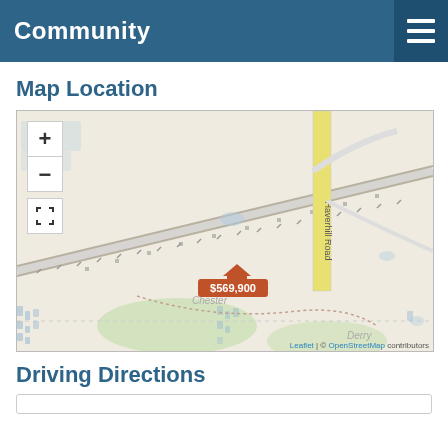Community
Map Location
[Figure (map): Leaflet/OpenStreetMap showing a property location marked with a house icon and price label $569,900. Roads visible include Haverhill Road and Chester area. Zoom in/out controls and fullscreen button visible on left side of map.]
Driving Directions